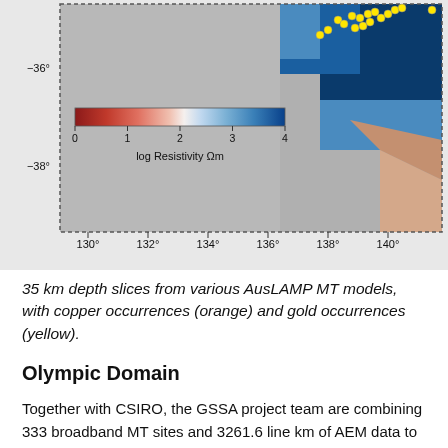[Figure (map): Map showing 35 km depth slice from AusLAMP MT model. Displays log resistivity (0-4 Ωm) with a red-to-blue colorbar. Latitude labels -36° and -38° on left. Longitude labels 130°, 132°, 134°, 136°, 138°, 140° on bottom. Yellow dot markers (gold occurrences) clustered in upper right area near coast. Blue shading indicating higher resistivity in upper right region.]
35 km depth slices from various AusLAMP MT models, with copper occurrences (orange) and gold occurrences (yellow).
Olympic Domain
Together with CSIRO, the GSSA project team are combining 333 broadband MT sites and 3261.6 line km of AEM data to develop a workflow for